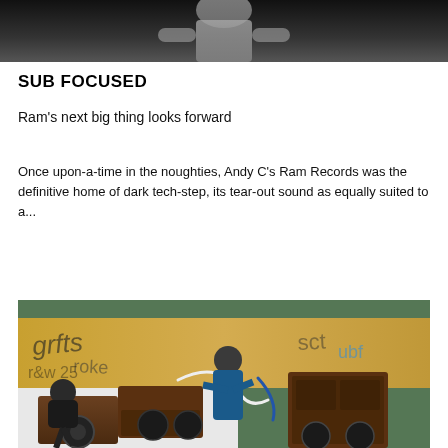[Figure (photo): Cropped photo of a person in a gray t-shirt, showing lower body/torso against a dark background]
SUB FOCUSED
Ram's next big thing looks forward
Once upon-a-time in the noughties, Andy C's Ram Records was the definitive home of dark tech-step, its tear-out sound as equally suited to a...
[Figure (photo): Outdoor photo of people setting up large speaker cabinets/sound system in front of a graffiti-covered wooden fence]